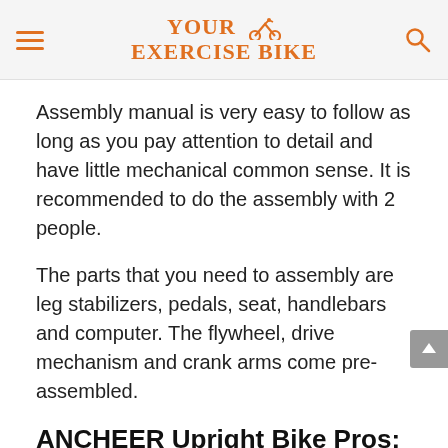YOUR EXERCISE BIKE
Assembly manual is very easy to follow as long as you pay attention to detail and have little mechanical common sense. It is recommended to do the assembly with 2 people.
The parts that you need to assembly are leg stabilizers, pedals, seat, handlebars and computer. The flywheel, drive mechanism and crank arms come pre-assembled.
ANCHEER Upright Bike Pros:
Belt driven system: